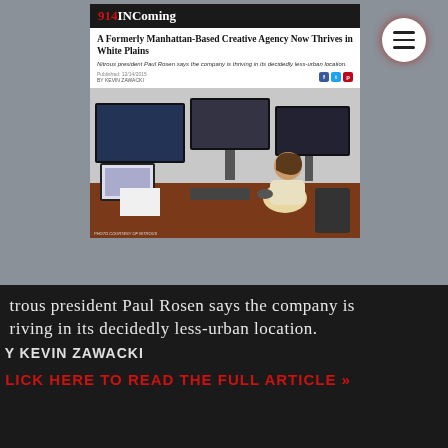[Figure (screenshot): Screenshot of 914INComing article page showing: header with '914INComing' logo in red and white, article title 'A Formerly Manhattan-Based Creative Agency Now Thrives in White Plains', subtitle about Nitrous president Paul Rosen, social share icons, and a photo of a person seated at a desk with multiple monitors.]
trous president Paul Rosen says the company is thriving in its decidedly less-urban location.
Y KEVIN ZAWACKI
LICK HERE TO READ THE FULL ARTICLE »